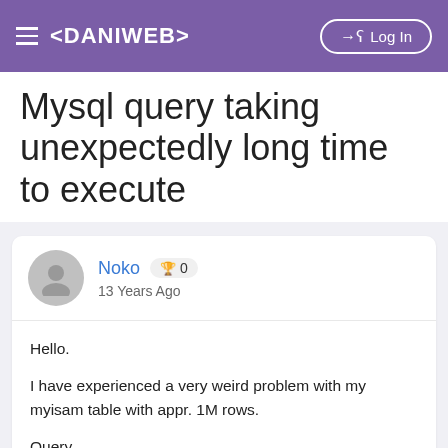≡ <DANIWEB>   → Log In
Mysql query taking unexpectedly long time to execute
« Databases Forum
Noko 🏆 0
13 Years Ago
Hello.

I have experienced a very weird problem with my myisam table with appr. 1M rows.

Query